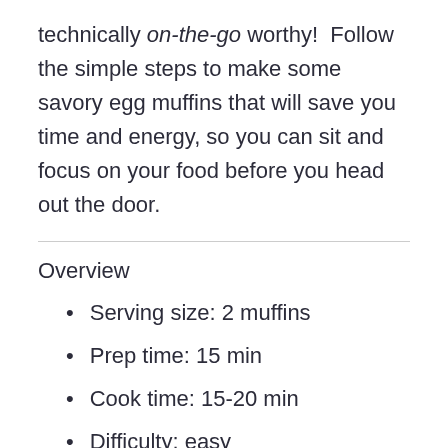technically on-the-go worthy!  Follow the simple steps to make some savory egg muffins that will save you time and energy, so you can sit and focus on your food before you head out the door.
Overview
Serving size: 2 muffins
Prep time: 15 min
Cook time: 15-20 min
Difficulty: easy